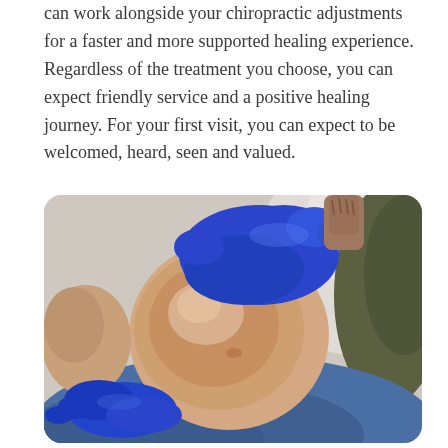can work alongside your chiropractic adjustments for a faster and more supported healing experience. Regardless of the treatment you choose, you can expect friendly service and a positive healing journey. For your first visit, you can expect to be welcomed, heard, seen and valued.
[Figure (photo): A healthcare professional wearing blue gloves examines or treats a patient's knee. The patient is lying down wearing blue jeans. The practitioner's hands are positioned on the knee joint, one from above and one from below, performing a chiropractic or physiotherapy assessment.]